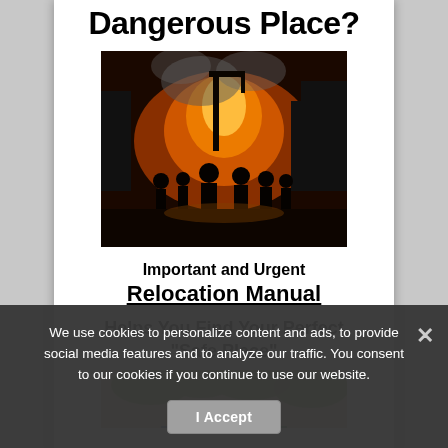Dangerous Place?
[Figure (photo): Dark dramatic photo of riot scene with fire, smoke, silhouettes of people, orange glow]
Important and Urgent
Relocation Manual
Helps You Find Your Perfect "Safe Place"
[Figure (photo): Partial photo showing people outdoors with trees, warm tones]
We use cookies to personalize content and ads, to provide social media features and to analyze our traffic. You consent to our cookies if you continue to use our website.
I Accept